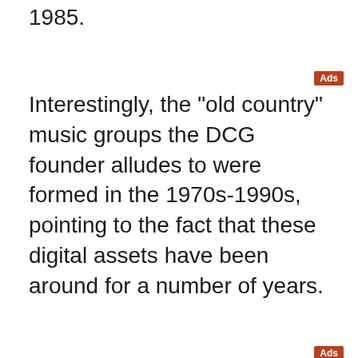1985.
Interestingly, the "old country" music groups the DCG founder alludes to were formed in the 1970s-1990s, pointing to the fact that these digital assets have been around for a number of years.